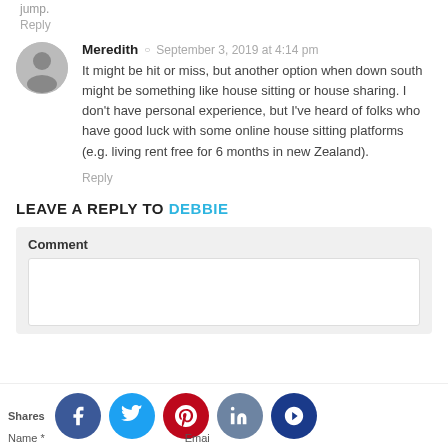jump.
Reply
Meredith · September 3, 2019 at 4:14 pm
It might be hit or miss, but another option when down south might be something like house sitting or house sharing. I don't have personal experience, but I've heard of folks who have good luck with some online house sitting platforms (e.g. living rent free for 6 months in new Zealand).
Reply
LEAVE A REPLY TO DEBBIE
Comment
Name *
Email